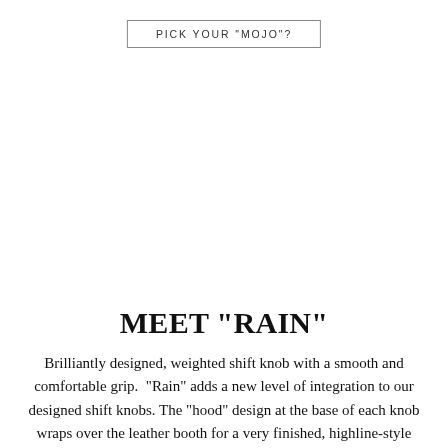PICK YOUR "MOJO"?
MEET "RAIN"
Brilliantly designed, weighted shift knob with a smooth and comfortable grip.  "Rain" adds a new level of integration to our designed shift knobs. The "hood" design at the base of each knob wraps over the leather booth for a very finished, highline-style look.  These shifts knobs are available in either stainless